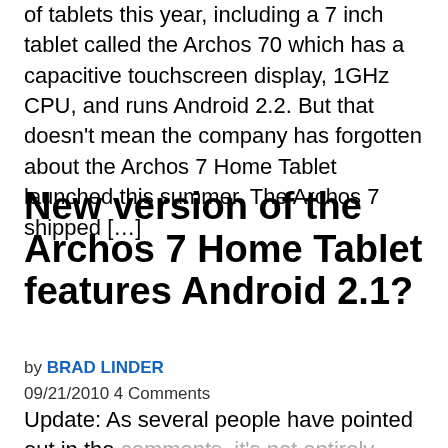of tablets this year, including a 7 inch tablet called the Archos 70 which has a capacitive touchscreen display, 1GHz CPU, and runs Android 2.2. But that doesn't mean the company has forgotten about the Archos 7 Home Tablet launched this summer. The Archos 7 shipped […]
New version of the Archos 7 Home Tablet features Android 2.1?
by BRAD LINDER
09/21/2010 4 Comments
Update: As several people have pointed out in the comments, it's not entirely clear if we're looking at an Archos prototype, or an Archos tablet that's